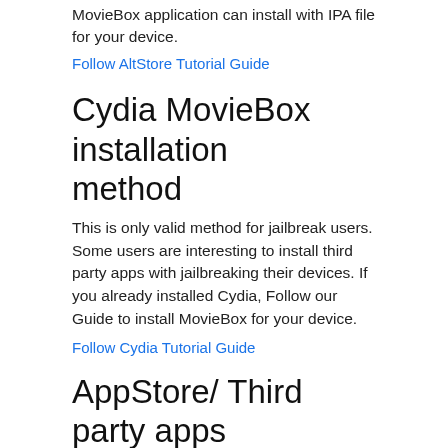MovieBox application can install with IPA file for your device.
Follow AltStore Tutorial Guide
Cydia MovieBox installation method
This is only valid method for jailbreak users. Some users are interesting to install third party apps with jailbreaking their devices. If you already installed Cydia, Follow our Guide to install MovieBox for your device.
Follow Cydia Tutorial Guide
AppStore/ Third party apps installation method
We have seen some third party applications are removed by Apple from the app store. So users are unable to find applications in the Store. This method is valid only limited days. So we can recommend KFPanda Player method for all MovieBox loving users.